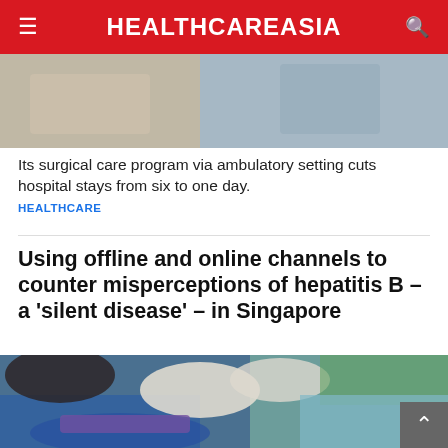HEALTHCAREASiA
[Figure (photo): Partial view of a medical/surgical setting, cropped image strip at top of page]
Its surgical care program via ambulatory setting cuts hospital stays from six to one day.
HEALTHCARE
Using offline and online channels to counter misperceptions of hepatitis B – a 'silent disease' – in Singapore
[Figure (photo): A healthcare worker wearing blue gloves performing a blood draw or injection on a patient's arm, with a purple tourniquet visible. Another person in green is assisting.]